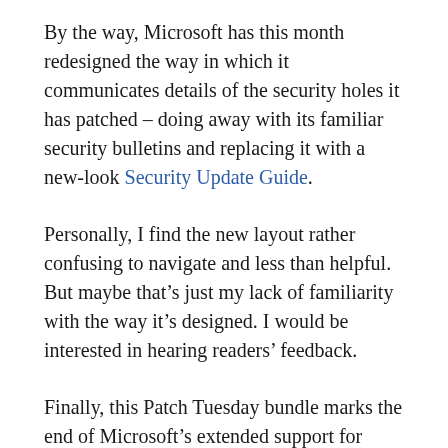By the way, Microsoft has this month redesigned the way in which it communicates details of the security holes it has patched – doing away with its familiar security bulletins and replacing it with a new-look Security Update Guide.
Personally, I find the new layout rather confusing to navigate and less than helpful. But maybe that's just my lack of familiarity with the way it's designed. I would be interested in hearing readers' feedback.
Finally, this Patch Tuesday bundle marks the end of Microsoft's extended support for Windows Vista. The company won't be issuing